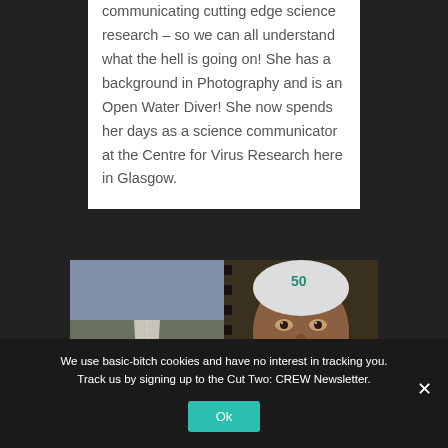communicating cutting edge science research – so we can all understand what the hell is going on! She has a background in Photography and is an Open Water Diver! She now spends her days as a science communicator at the Centre for Virus Research here in Glasgow.
[Figure (photo): Two photos side by side: left shows a motorcyclist on a long straight road stretching to the horizon under an overcast sky; right shows a close-up of a man's face wearing a white cap with the number 50.]
We use basic-bitch cookies and have no interest in tracking you. Track us by signing up to the Cut Two: CREW Newsletter.